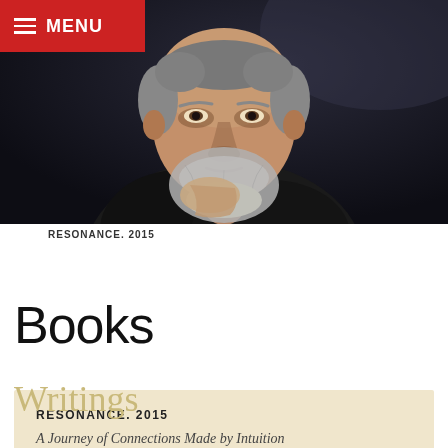[Figure (photo): Close-up portrait of a middle-aged man with a grey beard, wearing a black jacket, resting his chin on his hand against a dark background.]
MENU
Writings
RESONANCE. 2015
Books
A Journey of Connections Made by Intuition